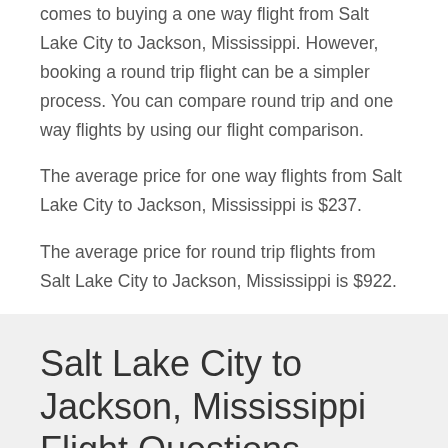flight. Increased reliability is the main benefit when it comes to buying a one way flight from Salt Lake City to Jackson, Mississippi. However, booking a round trip flight can be a simpler process. You can compare round trip and one way flights by using our flight comparison.
The average price for one way flights from Salt Lake City to Jackson, Mississippi is $237.
The average price for round trip flights from Salt Lake City to Jackson, Mississippi is $922.
Salt Lake City to Jackson, Mississippi Flight Questions